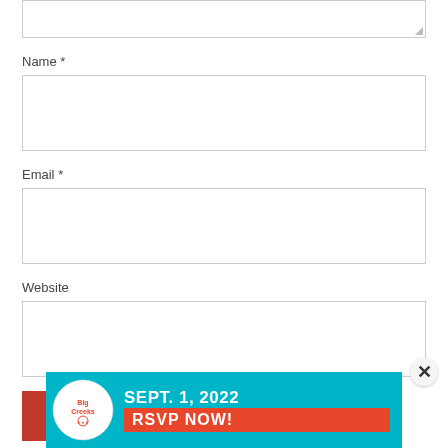[Figure (screenshot): Partial textarea input field at the top of the page, showing bottom portion with resize handle]
Name *
[Figure (screenshot): Name input field — empty text box]
Email *
[Figure (screenshot): Email input field — empty text box]
Website
[Figure (screenshot): Website input field — empty text box]
[Figure (screenshot): POST COMMENT button in red/dark-red color]
[Figure (screenshot): Close (x) button — circular, bottom right of form area]
[Figure (infographic): Advertisement banner: teal background with circular logo on left reading 'Big Creeks' and text 'SEPT. 1, 2022 RSVP NOW!' with orange RSVP button]